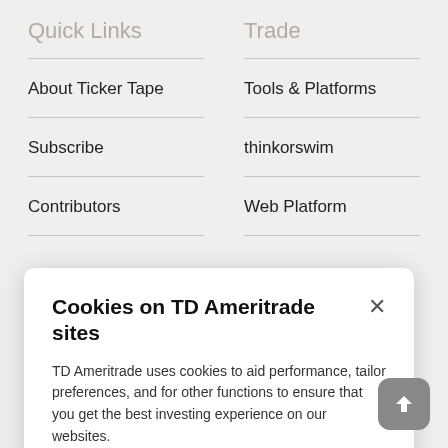Quick Links
Trade
About Ticker Tape
Tools & Platforms
Subscribe
thinkorswim
Contributors
Web Platform
[Figure (screenshot): Cookie consent modal overlay on TD Ameritrade website with title 'Cookies on TD Ameritrade sites', body text about cookie usage, and 'Adjust cookie settings' link]
Cookies on TD Ameritrade sites
TD Ameritrade uses cookies to aid performance, tailor preferences, and for other functions to ensure that you get the best investing experience on our websites.
Adjust cookie settings